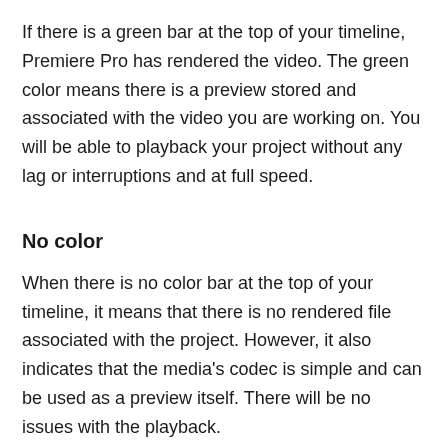If there is a green bar at the top of your timeline, Premiere Pro has rendered the video. The green color means there is a preview stored and associated with the video you are working on. You will be able to playback your project without any lag or interruptions and at full speed.
No color
When there is no color bar at the top of your timeline, it means that there is no rendered file associated with the project. However, it also indicates that the media's codec is simple and can be used as a preview itself. There will be no issues with the playback.